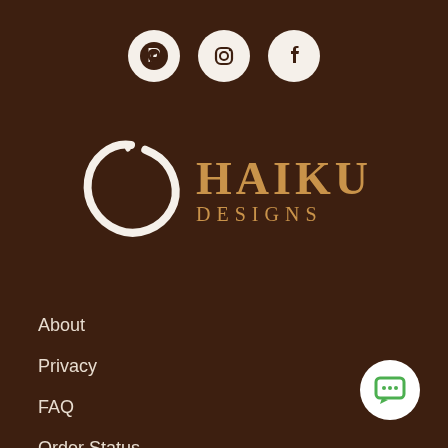[Figure (logo): Three social media icons (Pinterest, Instagram, Facebook) as white circles on dark brown background]
[Figure (logo): Haiku Designs logo with Enso circle brush stroke and gold text HAIKU DESIGNS]
About
Privacy
FAQ
Order Status
Contact Us
Shipping